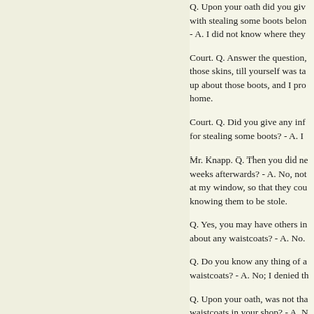Q. Upon your oath did you give any evidence charged with stealing some boots belonging to — - A. I did not know where they
Court. Q. Answer the question, did you know about those skins, till yourself was taken up? - A. I was taken up about those boots, and I pro— home.
Court. Q. Did you give any information against her for stealing some boots? - A. I
Mr. Knapp. Q. Then you did not see her two or three weeks afterwards? - A. No, not that I know of. She came at my window, so that they cou— knowing them to be stole.
Q. Yes, you may have others in— about any waistcoats? - A. No.
Q. Do you know any thing of a— waistcoats? - A. No; I denied th—
Q. Upon your oath, was not tha— waistcoats in your shop? - A. N
Q. No certainly not, and with—